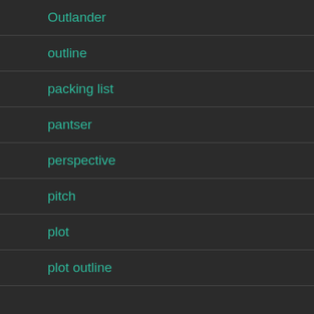Outlander
outline
packing list
pantser
perspective
pitch
plot
plot outline